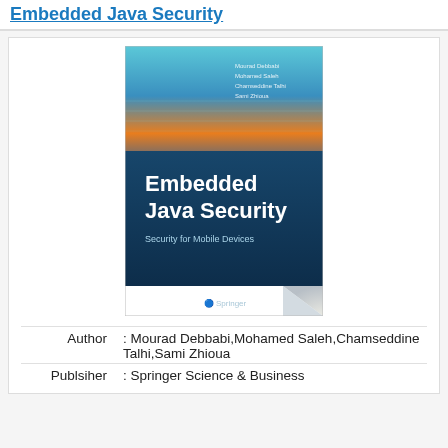Embedded Java Security
[Figure (photo): Book cover of 'Embedded Java Security: Security for Mobile Devices' published by Springer, authored by Mourad Debbabi, Mohamed Saleh, Chamseddine Talhi, Sami Zhioua. Cover features blue circuit-board imagery with orange and teal accents.]
| Field | Value |
| --- | --- |
| Author | : Mourad Debbabi,Mohamed Saleh,Chamseddine Talhi,Sami Zhioua |
| Publsiher | : Springer Science & Business |